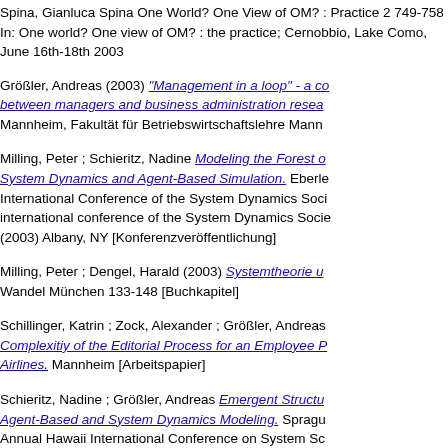Spina, Gianluca Spina One World? One View of OM? : Practice 2 749-758 In: One world? One view of OM? : the practice; Cernobbio, Lake Como, June 16th-18th 2003
Größler, Andreas (2003) "Management in a loop" - a co... between managers and business administration resea... Mannheim, Fakultät für Betriebswirtschaftslehre Mann...
Milling, Peter ; Schieritz, Nadine Modeling the Forest o... System Dynamics and Agent-Based Simulation. Eberle... International Conference of the System Dynamics Soci... international conference of the System Dynamics Socie... (2003) Albany, NY [Konferenzveröffentlichung]
Milling, Peter ; Dengel, Harald (2003) Systemtheorie u... Wandel München 133-148 [Buchkapitel]
Schillinger, Katrin ; Zock, Alexander ; Größler, Andreas... Complexitiy of the Editorial Process for an Employee P... Airlines. Mannheim [Arbeitspapier]
Schieritz, Nadine ; Größler, Andreas Emergent Structu... Agent-Based and System Dynamics Modeling. Spragu... Annual Hawaii International Conference on System Sc... ; abstracts and CD-ROM of full papers ; [HICSS-36] (2... [Konferenzveröffentlichung]
2002